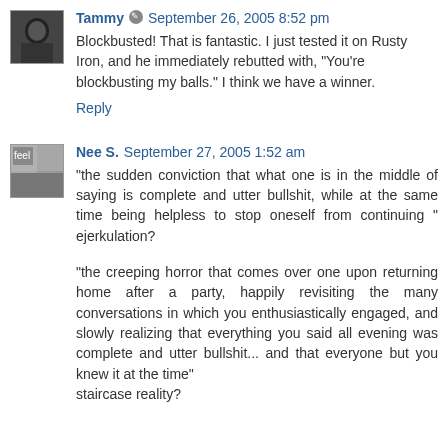Tammy · September 26, 2005 8:52 pm
Blockbusted! That is fantastic. I just tested it on Rusty Iron, and he immediately rebutted with, "You're blockbusting my balls." I think we have a winner.
Reply
Nee S. September 27, 2005 1:52 am
"the sudden conviction that what one is in the middle of saying is complete and utter bullshit, while at the same time being helpless to stop oneself from continuing " ejerkulation?
"the creeping horror that comes over one upon returning home after a party, happily revisiting the many conversations in which you enthusiastically engaged, and slowly realizing that everything you said all evening was complete and utter bullshit... and that everyone but you knew it at the time"
staircase reality?